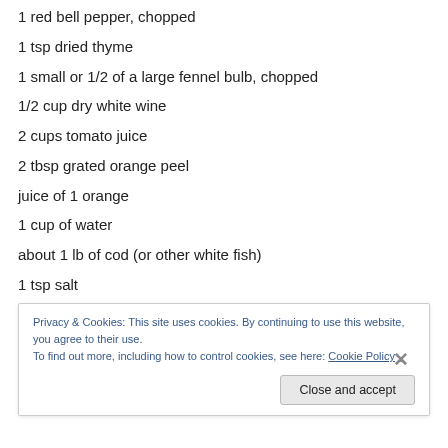1 red bell pepper, chopped
1 tsp dried thyme
1 small or 1/2 of a large fennel bulb, chopped
1/2 cup dry white wine
2 cups tomato juice
2 tbsp grated orange peel
juice of 1 orange
1 cup of water
about 1 lb of cod (or other white fish)
1 tsp salt
Privacy & Cookies: This site uses cookies. By continuing to use this website, you agree to their use. To find out more, including how to control cookies, see here: Cookie Policy